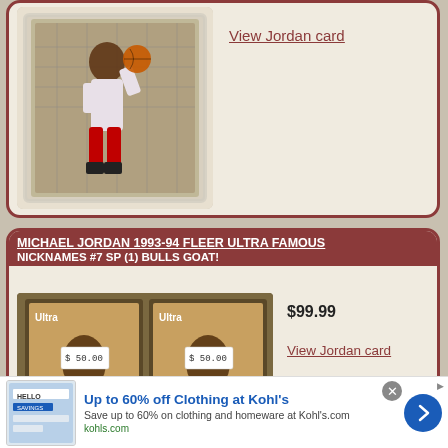[Figure (photo): Michael Jordan basketball card in plastic case, player dunking with net background]
View Jordan card
MICHAEL JORDAN 1993-94 FLEER ULTRA FAMOUS NICKNAMES #7 SP (1) BULLS GOAT!
[Figure (photo): Two Michael Jordan 1993-94 Fleer Ultra Famous Nicknames cards side by side in cases, each with price sticker $50.00]
$99.99
View Jordan card
[Figure (screenshot): Advertisement banner: Up to 60% off Clothing at Kohl's — Save up to 60% on clothing and homeware at Kohl's.com — kohls.com]